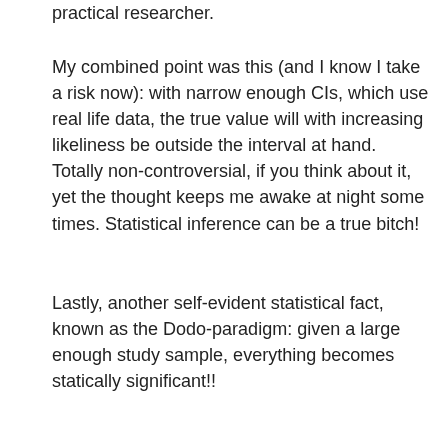practical researcher.
My combined point was this (and I know I take a risk now): with narrow enough CIs, which use real life data, the true value will with increasing likeliness be outside the interval at hand. Totally non-controversial, if you think about it, yet the thought keeps me awake at night some times. Statistical inference can be a true bitch!
Lastly, another self-evident statistical fact, known as the Dodo-paradigm: given a large enough study sample, everything becomes statically significant!!